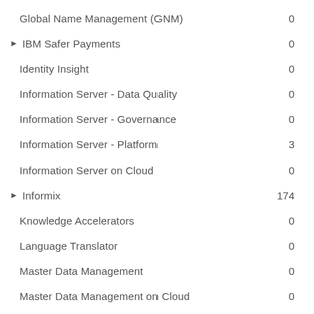Global Name Management (GNM)    0
▶ IBM Safer Payments    0
Identity Insight    0
Information Server - Data Quality    0
Information Server - Governance    0
Information Server - Platform    3
Information Server on Cloud    0
▶ Informix    174
Knowledge Accelerators    0
Language Translator    0
Master Data Management    0
Master Data Management on Cloud    0
Natural Language Understanding (NLU)    0